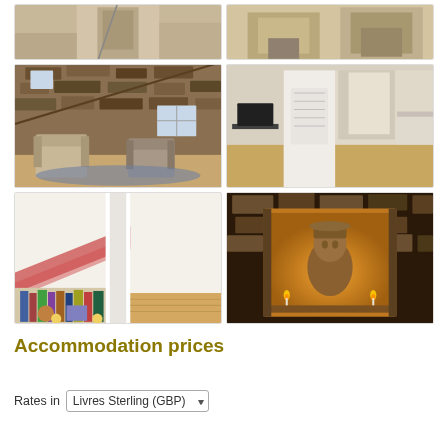[Figure (photo): Grid of 6 accommodation interior photos: top-left shows a staircase interior, top-right shows a dining area with wooden floor, middle-left shows a rustic attic room with stone walls and armchairs, middle-right shows a bright modern interior hallway with kitchen, bottom-left shows an attic storage space with bookshelves under triangular roof beams, bottom-right shows a stone fireplace niche with a sculpture lit by candles.]
Accommodation prices
Rates in Livres Sterling (GBP)